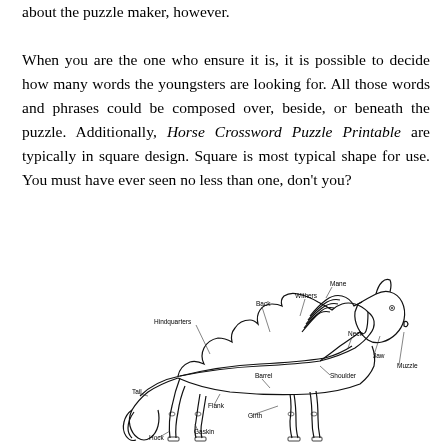about the puzzle maker, however.

When you are the one who ensure it is, it is possible to decide how many words the youngsters are looking for. All those words and phrases could be composed over, beside, or beneath the puzzle. Additionally, Horse Crossword Puzzle Printable are typically in square design. Square is most typical shape for use. You must have ever seen no less than one, don't you?
[Figure (illustration): A labeled diagram of a horse showing anatomical parts: Mane, Withers, Back, Hindquarters, Neck, Jaw, Muzzle, Shoulder, Barrel, Flank, Girth, Gaskin, Hock, Tail]